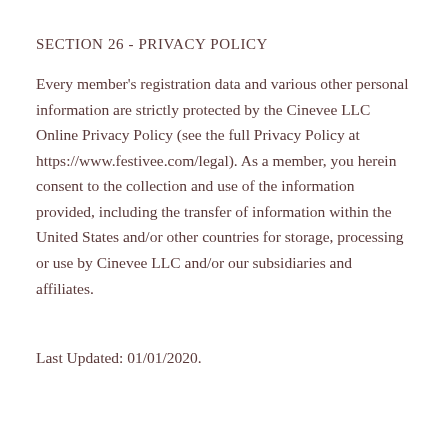SECTION 26 - PRIVACY POLICY
Every member's registration data and various other personal information are strictly protected by the Cinevee LLC Online Privacy Policy (see the full Privacy Policy at https://www.festivee.com/legal). As a member, you herein consent to the collection and use of the information provided, including the transfer of information within the United States and/or other countries for storage, processing or use by Cinevee LLC and/or our subsidiaries and affiliates.
Last Updated: 01/01/2020.